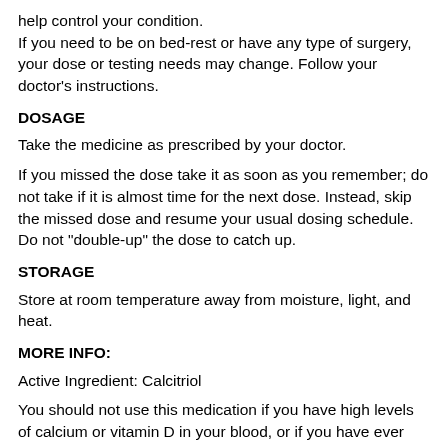help control your condition.
If you need to be on bed-rest or have any type of surgery, your dose or testing needs may change. Follow your doctor's instructions.
DOSAGE
Take the medicine as prescribed by your doctor.
If you missed the dose take it as soon as you remember; do not take if it is almost time for the next dose. Instead, skip the missed dose and resume your usual dosing schedule. Do not "double-up" the dose to catch up.
STORAGE
Store at room temperature away from moisture, light, and heat.
MORE INFO:
Active Ingredient: Calcitriol
You should not use this medication if you have high levels of calcium or vitamin D in your blood, or if you have ever had an allergic reaction to calcitriol or other forms of vitamin D. Drink plenty of fluids unless your doctor has told you to restrict your fluid intake. Call your doctor if you have ongoing vomiting or diarrhea, or if you are